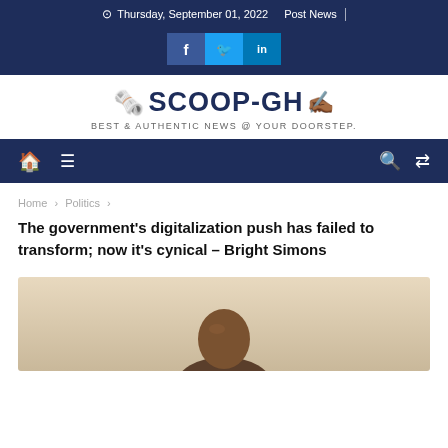Thursday, September 01, 2022   Post News
[Figure (logo): Social media share buttons: Facebook, Twitter, LinkedIn]
[Figure (logo): SCOOP-GH logo with newspaper emoji and pen emoji. Tagline: BEST & AUTHENTIC NEWS @ YOUR DOORSTEP.]
[Figure (screenshot): Navigation bar with home icon, hamburger menu icon, search icon, and shuffle icon on dark navy background]
Home › Politics ›
The government's digitalization push has failed to transform; now it's cynical – Bright Simons
[Figure (photo): Photo of a person (Bright Simons) with a bald head, cropped at shoulders, against a light beige/cream background]